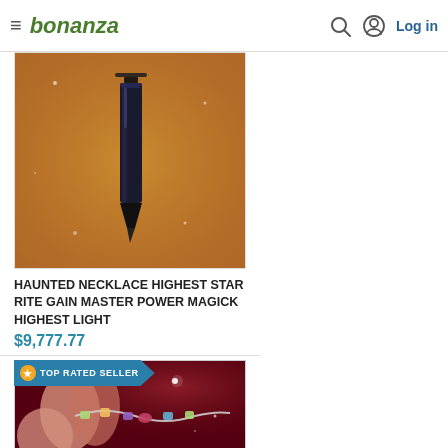bonanza — Log in
[Figure (photo): Black crystal/pendant on orange-gold glittery background]
HAUNTED NECKLACE HIGHEST STAR RITE GAIN MASTER POWER MAGICK HIGHEST LIGHT
$9,777.77
[Figure (photo): Colorful gemstone bracelet held by fingers against dark red cosmic background, with TOP RATED SELLER badge]